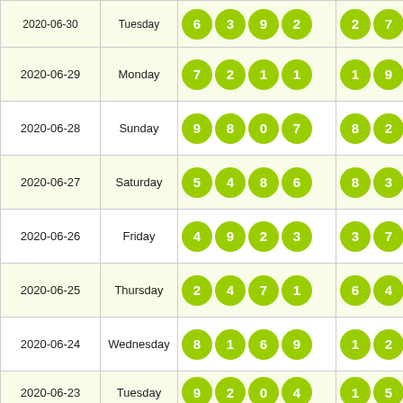| Date | Day | Numbers | Extra |
| --- | --- | --- | --- |
| 2020-06-29 | Monday | 7 2 1 1 | 1 9 |
| 2020-06-28 | Sunday | 9 8 0 7 | 8 2 |
| 2020-06-27 | Saturday | 5 4 8 6 | 8 3 |
| 2020-06-26 | Friday | 4 9 2 3 | 3 7 |
| 2020-06-25 | Thursday | 2 4 7 1 | 6 4 |
| 2020-06-24 | Wednesday | 8 1 6 9 | 1 2 |
| 2020-06-23 | Tuesday | 9 2 0 4 | 1 5 |